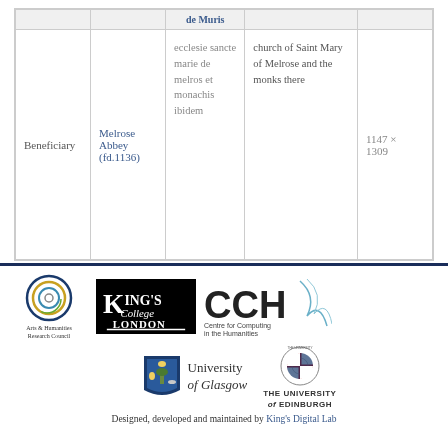|  |  |  |  |  |
| --- | --- | --- | --- | --- |
|  |  |  |  |  |
| Beneficiary | Melrose Abbey (fd.1136) | ecclesie sancte marie de melros et monachis ibidem | church of Saint Mary of Melrose and the monks there | 1147 × 1309 |
[Figure (logo): Footer with logos: Arts & Humanities Research Council (circular rings logo), King's College London (black box with stylized text), CCH Centre for Computing in the Humanities (curved lines), University of Glasgow (shield crest), The University of Edinburgh (circular seal). Footer text: Designed, developed and maintained by King's Digital Lab]